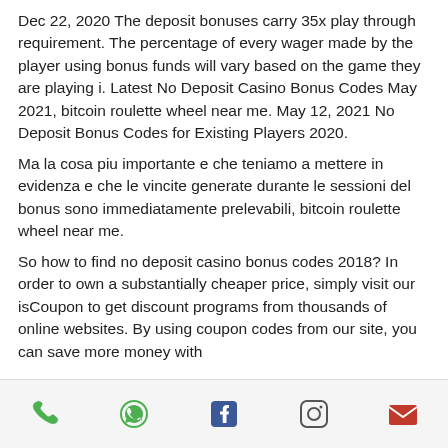Dec 22, 2020 The deposit bonuses carry 35x play through requirement. The percentage of every wager made by the player using bonus funds will vary based on the game they are playing i. Latest No Deposit Casino Bonus Codes May 2021, bitcoin roulette wheel near me. May 12, 2021 No Deposit Bonus Codes for Existing Players 2020.
Ma la cosa piu importante e che teniamo a mettere in evidenza e che le vincite generate durante le sessioni del bonus sono immediatamente prelevabili, bitcoin roulette wheel near me.
So how to find no deposit casino bonus codes 2018? In order to own a substantially cheaper price, simply visit our isCoupon to get discount programs from thousands of online websites. By using coupon codes from our site, you can save more money with
[phone icon] [whatsapp icon] [facebook icon] [instagram icon] [email icon]